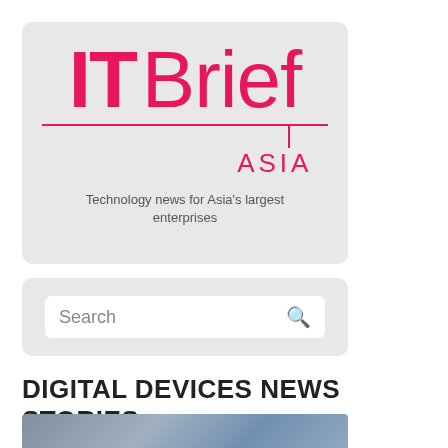[Figure (logo): IT Brief Asia logo with tagline 'Technology news for Asia's largest enterprises' on a light grey rounded card]
[Figure (screenshot): Search box with placeholder text 'Search' and a magnifying glass icon on a light grey rounded card]
DIGITAL DEVICES NEWS STORIES
[Figure (photo): Partial photo showing a person in a blue suit near server equipment]